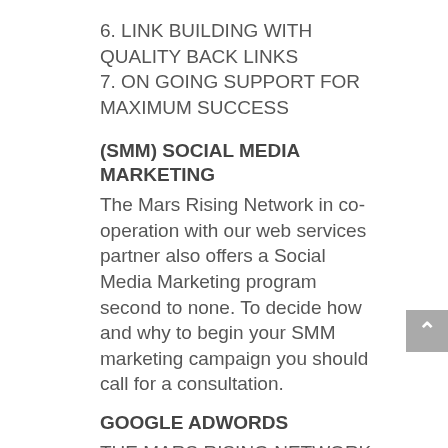6. LINK BUILDING WITH QUALITY BACK LINKS
7. ON GOING SUPPORT FOR MAXIMUM SUCCESS
(SMM) SOCIAL MEDIA MARKETING
The Mars Rising Network in co-operation with our web services partner also offers a Social Media Marketing program second to none. To decide how and why to begin your SMM marketing campaign you should call for a consultation.
GOOGLE ADWORDS
THE MARS RISING NETWORK USES GOOGLE ADWORDS
Google AdWords is a proven method to kick start your response while you are building the organic section of your website.